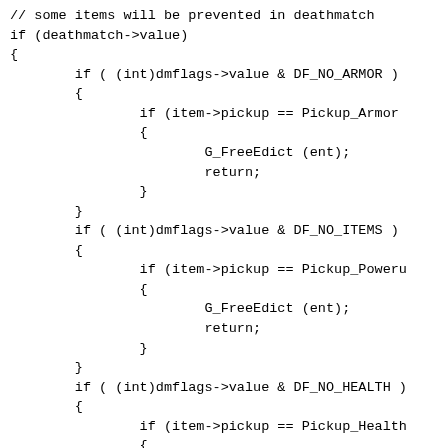// some items will be prevented in deathmatch
if (deathmatch->value)
{
        if ( (int)dmflags->value & DF_NO_ARMOR )
        {
                if (item->pickup == Pickup_Armor
                {
                        G_FreeEdict (ent);
                        return;
                }
        }
        if ( (int)dmflags->value & DF_NO_ITEMS )
        {
                if (item->pickup == Pickup_Poweru
                {
                        G_FreeEdict (ent);
                        return;
                }
        }
        if ( (int)dmflags->value & DF_NO_HEALTH )
        {
                if (item->pickup == Pickup_Health
                {
                        G_FreeEdict (ent);
                        return;
                }
        }
        if ( (int)dmflags->value & DF_INFINITE_AM
        {
                if ( (item->flags == IT_AMMO) ||
                {